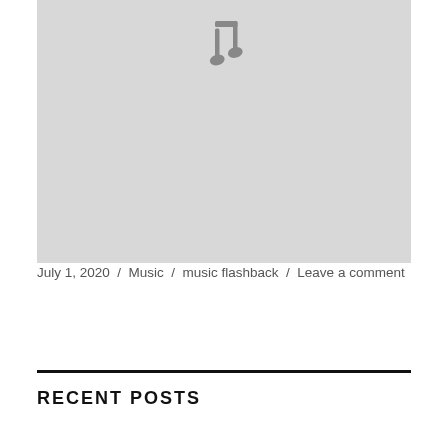[Figure (illustration): Gray placeholder image with a music note icon centered at the top]
July 1, 2020 / Music / music flashback / Leave a comment
RECENT POSTS